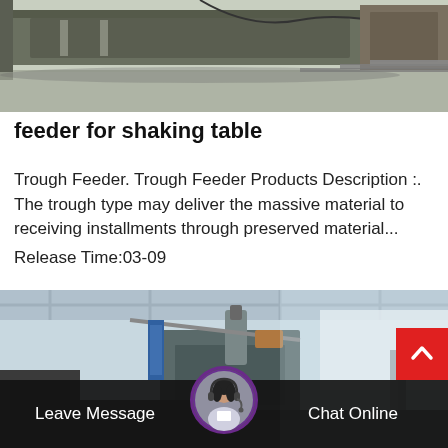[Figure (photo): Industrial machinery photo showing what appears to be a vibratory feeder or shaking table equipment in a factory setting with steel frames and components]
feeder for shaking table
Trough Feeder. Trough Feeder Products Description :. The trough type may deliver the massive material to receiving installments through preserved material...
Release Time:03-09
[Figure (photo): Industrial factory interior showing heavy machinery, crane, and manufacturing equipment in a large hall with natural light]
Leave Message   Chat Online